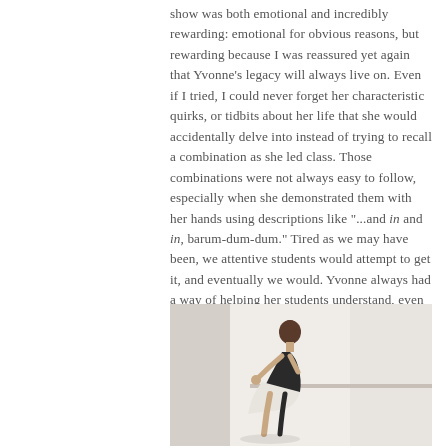show was both emotional and incredibly rewarding: emotional for obvious reasons, but rewarding because I was reassured yet again that Yvonne's legacy will always live on. Even if I tried, I could never forget her characteristic quirks, or tidbits about her life that she would accidentally delve into instead of trying to recall a combination as she led class. Those combinations were not always easy to follow, especially when she demonstrated them with her hands using descriptions like "...and in and in, barum-dum-dum." Tired as we may have been, we attentive students would attempt to get it, and eventually we would. Yvonne always had a way of helping her students understand, even if it wasn't by using traditional English.
[Figure (photo): A ballet dancer in a black leotard bending forward at a ballet barre in a studio with white walls and natural light]